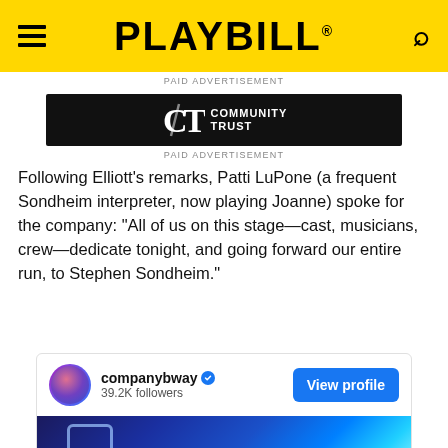PLAYBILL
PAID ADVERTISEMENT
[Figure (logo): Community Trust bank advertisement banner with CT logo on dark brick background]
PAID ADVERTISEMENT
Following Elliott's remarks, Patti LuPone (a frequent Sondheim interpreter, now playing Joanne) spoke for the company: "All of us on this stage—cast, musicians, crew—dedicate tonight, and going forward our entire run, to Stephen Sondheim."
[Figure (screenshot): Instagram embed card for companybway account with 39.2K followers and View profile button, showing blue-toned stage photo below]